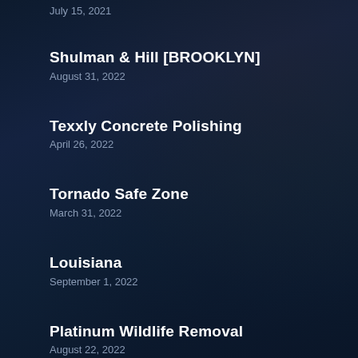July 15, 2021
Shulman & Hill [BROOKLYN]
August 31, 2022
Texxly Concrete Polishing
April 26, 2022
Tornado Safe Zone
March 31, 2022
Louisiana
September 1, 2022
Platinum Wildlife Removal
August 22, 2022